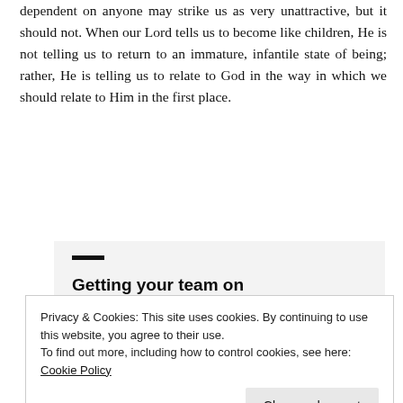dependent on anyone may strike us as very unattractive, but it should not. When our Lord tells us to become like children, He is not telling us to return to an immature, infantile state of being; rather, He is telling us to relate to God in the way in which we should relate to Him in the first place.
[Figure (screenshot): Advertisement banner with bold text 'Getting your team on the same page is easy. And free.' with a decorative dark bar above the text, and three circular avatar photos plus a blue plus button below.]
Privacy & Cookies: This site uses cookies. By continuing to use this website, you agree to their use.
To find out more, including how to control cookies, see here: Cookie Policy
Close and accept